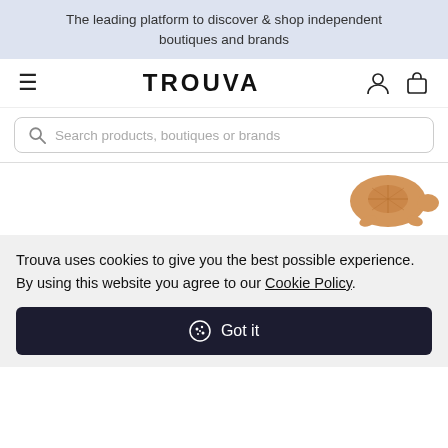The leading platform to discover & shop independent boutiques and brands
TROUVA
Search products, boutiques or brands
[Figure (illustration): Partial view of a tan/brown ceramic or clay turtle figurine on a white background]
Trouva uses cookies to give you the best possible experience. By using this website you agree to our Cookie Policy.
Got it